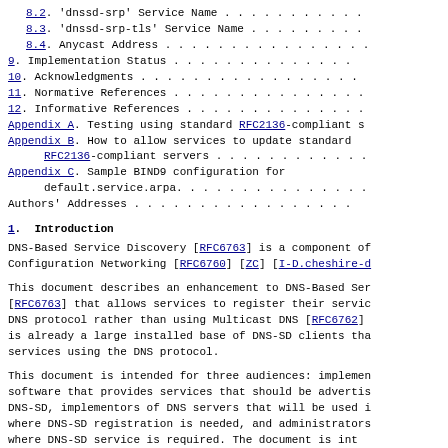8.2. 'dnssd-srp' Service Name . . . . . . . . . . .
8.3. 'dnssd-srp-tls' Service Name . . . . . . . . .
8.4. Anycast Address . . . . . . . . . . . . . . . .
9. Implementation Status . . . . . . . . . . . . . .
10. Acknowledgments . . . . . . . . . . . . . . . . .
11. Normative References . . . . . . . . . . . . . . .
12. Informative References . . . . . . . . . . . . . .
Appendix A. Testing using standard RFC2136-compliant s
Appendix B. How to allow services to update standard RFC2136-compliant servers . . . . . . . . . . . .
Appendix C. Sample BIND9 configuration for default.service.arpa. . . . . . . . . . . . . . .
Authors' Addresses . . . . . . . . . . . . . . . . .
1. Introduction
DNS-Based Service Discovery [RFC6763] is a component of Configuration Networking [RFC6760] [ZC] [I-D.cheshire-d
This document describes an enhancement to DNS-Based Ser [RFC6763] that allows services to register their servic DNS protocol rather than using Multicast DNS [RFC6762] is already a large installed base of DNS-SD clients tha services using the DNS protocol.
This document is intended for three audiences: implemen software that provides services that should be advertis DNS-SD, implementors of DNS servers that will be used i where DNS-SD registration is needed, and administrators where DNS-SD service is required. The document is int